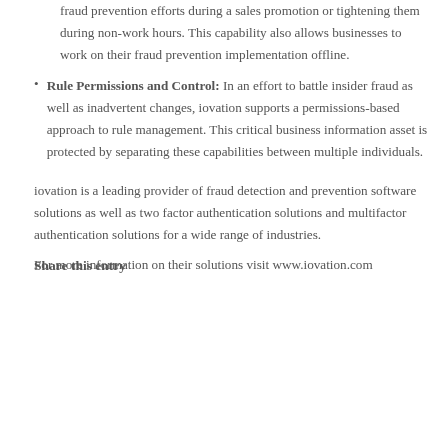fraud prevention efforts during a sales promotion or tightening them during non-work hours. This capability also allows businesses to work on their fraud prevention implementation offline.
Rule Permissions and Control: In an effort to battle insider fraud as well as inadvertent changes, iovation supports a permissions-based approach to rule management. This critical business information asset is protected by separating these capabilities between multiple individuals.
iovation is a leading provider of fraud detection and prevention software solutions as well as two factor authentication solutions and multifactor authentication solutions for a wide range of industries.
For more information on their solutions visit www.iovation.com
Share this entry